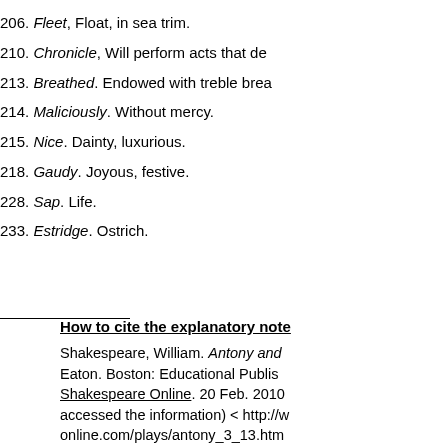206. Fleet, Float, in sea trim.
210. Chronicle, Will perform acts that de…
213. Breathed. Endowed with treble brea…
214. Maliciously. Without mercy.
215. Nice. Dainty, luxurious.
218. Gaudy. Joyous, festive.
228. Sap. Life.
233. Estridge. Ostrich.
How to cite the explanatory note…
Shakespeare, William. Antony and… Eaton. Boston: Educational Publis… Shakespeare Online. 20 Feb. 2010… accessed the information) < http://w… online.com/plays/antony_3_13.htm…